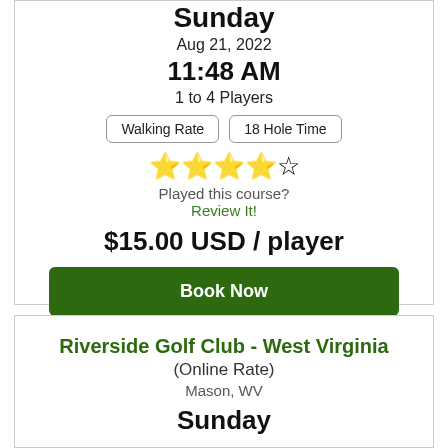Sunday
Aug 21, 2022
11:48 AM
1 to 4 Players
Walking Rate | 18 Hole Time
[Figure (other): 4 out of 5 gold stars rating]
Played this course?
Review It!
$15.00 USD / player
Book Now
Riverside Golf Club - West Virginia
(Online Rate)
Mason, WV
Sunday